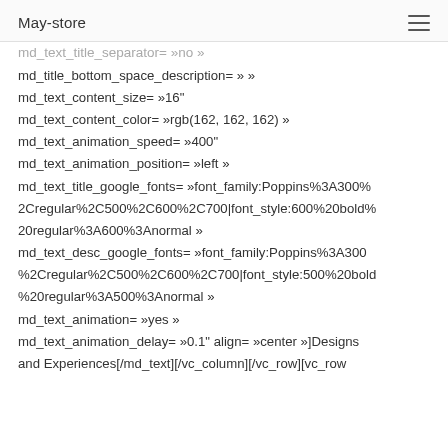May-store
md_text_title_separator= »no »
md_title_bottom_space_description= » »
md_text_content_size= »16"
md_text_content_color= »rgb(162, 162, 162) »
md_text_animation_speed= »400"
md_text_animation_position= »left »
md_text_title_google_fonts= »font_family:Poppins%3A300%2Cregular%2C500%2C600%2C700|font_style:600%20bold%20regular%3A600%3Anormal »
md_text_desc_google_fonts= »font_family:Poppins%3A300%2Cregular%2C500%2C600%2C700|font_style:500%20bold%20regular%3A500%3Anormal »
md_text_animation= »yes »
md_text_animation_delay= »0.1" align= »center »]Designs and Experiences[/md_text][/vc_column][/vc_row][vc_row